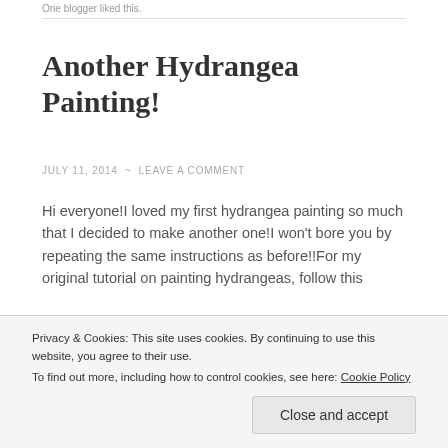One blogger liked this.
Another Hydrangea Painting!
JULY 11, 2014  ~  LEAVE A COMMENT
Hi everyone!I loved my first hydrangea painting so much that I decided to make another one!I won't bore you by repeating the same instructions as before!!For my original tutorial on painting hydrangeas, follow this
Privacy & Cookies: This site uses cookies. By continuing to use this website, you agree to their use.
To find out more, including how to control cookies, see here: Cookie Policy
Close and accept